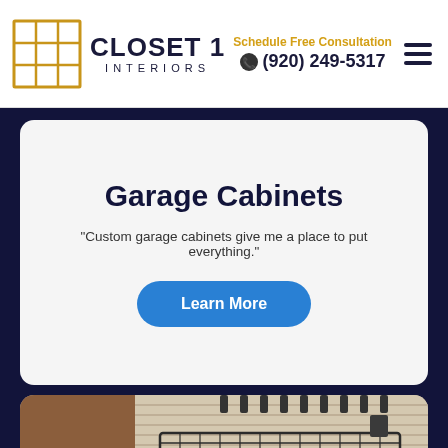CLOSET 1 INTERIORS | Schedule Free Consultation | (920) 249-5317
Garage Cabinets
"Custom garage cabinets give me a place to put everything."
Learn More
[Figure (photo): Photo of garage shelving system with wire baskets and slatwall panels, partially showing a brown wood panel on the left]